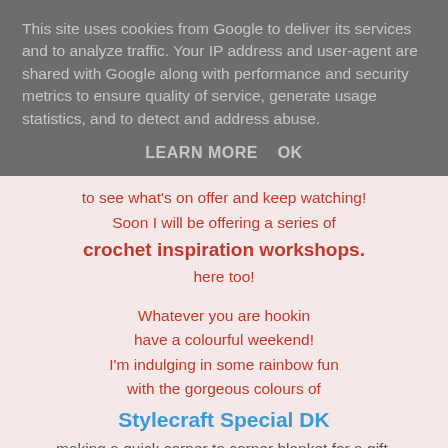This site uses cookies from Google to deliver its services and to analyze traffic. Your IP address and user-agent are shared with Google along with performance and security metrics to ensure quality of service, generate usage statistics, and to detect and address abuse.
LEARN MORE    OK
to see what's on offer and keep watching!
Soon I will be offering a series of
crochet inspiration workshops.
here too!
Whatever you are hookin
have a colourful weekend!
I'm indulging in some rainbow fun
with the gorgeous colours of
Stylecraft Special DK
making a quick corner to corner blanket for a gift.
[Figure (photo): Colourful crochet yarn balls in rainbow colours on a teal/blue background, partially visible at bottom of page]